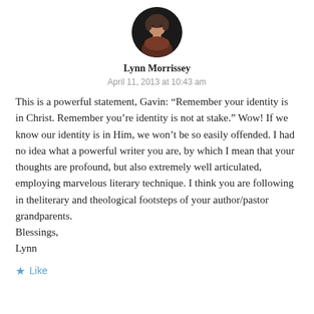[Figure (photo): Circular avatar photo of Lynn Morrissey, a woman with short hair wearing a dark reddish-brown top, against a dark background]
Lynn Morrissey
April 11, 2013 at 10:43 am
This is a powerful statement, Gavin: “Remember your identity is in Christ. Remember you’re identity is not at stake.” Wow! If we know our identity is in Him, we won’t be so easily offended. I had no idea what a powerful writer you are, by which I mean that your thoughts are profound, but also extremely well articulated, employing marvelous literary technique. I think you are following in theliterary and theological footsteps of your author/pastor grandparents.
Blessings,
Lynn
★ Like